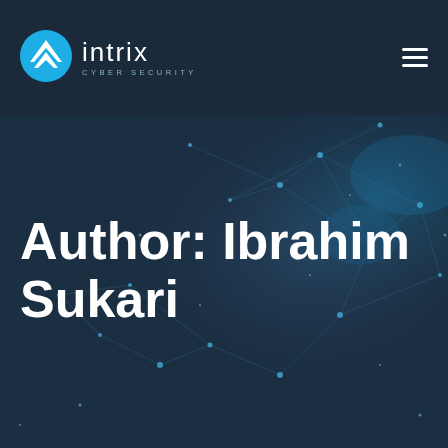[Figure (logo): Intrix Cyber Security logo with circular icon and text]
Author: Ibrahim Sukari